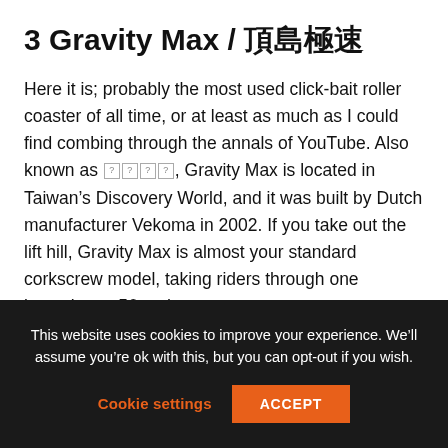3 Gravity Max / 頂島極速
Here it is; probably the most used click-bait roller coaster of all time, or at least as much as I could find combing through the annals of YouTube. Also known as 頂島極速, Gravity Max is located in Taiwan’s Discovery World, and it was built by Dutch manufacturer Vekoma in 2002. If you take out the lift hill, Gravity Max is almost your standard corkscrew model, taking riders through one inversion at 56 mph.
The strangeness factor of Gravity Max, however, lies in its 114-foot lift hill. The ride takes its passengers on a piece
This website uses cookies to improve your experience. We’ll assume you’re ok with this, but you can opt-out if you wish. Cookie settings ACCEPT